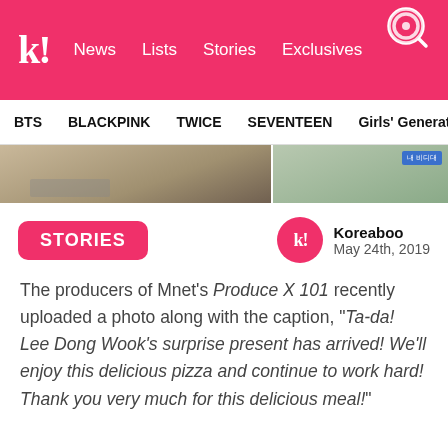k! News Lists Stories Exclusives
BTS BLACKPINK TWICE SEVENTEEN Girls' Generation
[Figure (photo): Cropped photo strip showing people, possibly food scene on left and a person in mint/green top on right with Korean text banner]
STORIES
Koreaboo
May 24th, 2019
The producers of Mnet's Produce X 101 recently uploaded a photo along with the caption, “Ta-da! Lee Dong Wook’s surprise present has arrived! We’ll enjoy this delicious pizza and continue to work hard! Thank you very much for this delicious meal!”